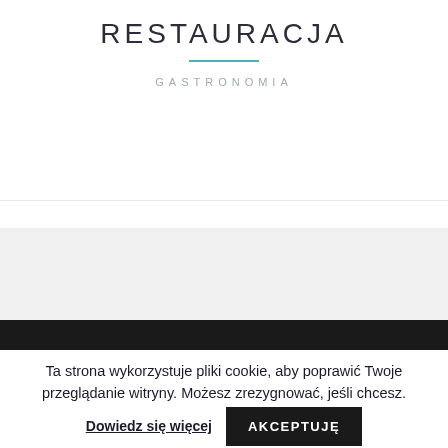RESTAURACJA
GASTRONOMIA
Ta strona wykorzystuje pliki cookie, aby poprawić Twoje przeglądanie witryny. Możesz zrezygnować, jeśli chcesz.
Dowiedz się więcej
AKCEPTUJĘ